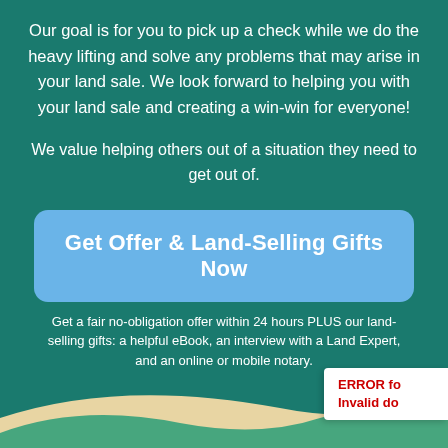Our goal is for you to pick up a check while we do the heavy lifting and solve any problems that may arise in your land sale. We look forward to helping you with your land sale and creating a win-win for everyone!
We value helping others out of a situation they need to get out of.
Get Offer & Land-Selling Gifts Now
Get a fair no-obligation offer within 24 hours PLUS our land-selling gifts: a helpful eBook, an interview with a Land Expert, and an online or mobile notary.